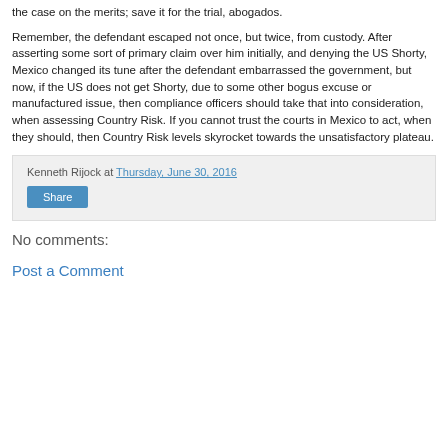the case on the merits; save it for the trial, abogados.
Remember, the defendant escaped not once, but twice, from custody. After asserting some sort of primary claim over him initially, and denying the US Shorty, Mexico changed its tune after the defendant embarrassed the government, but now, if the US does not get Shorty, due to some other bogus excuse or manufactured issue, then compliance officers should take that into consideration, when assessing Country Risk. If you cannot trust the courts in Mexico to act, when they should, then Country Risk levels skyrocket towards the unsatisfactory plateau.
Kenneth Rijock at Thursday, June 30, 2016
Share
No comments:
Post a Comment